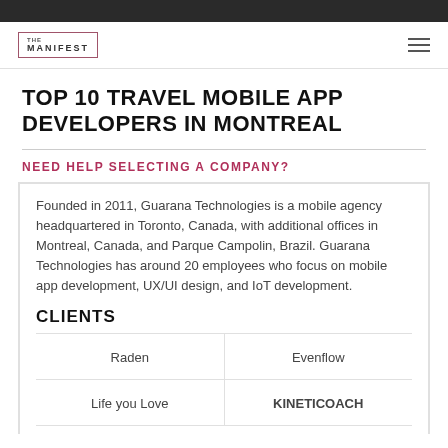THE MANIFEST
TOP 10 TRAVEL MOBILE APP DEVELOPERS IN MONTREAL
NEED HELP SELECTING A COMPANY?
Founded in 2011, Guarana Technologies is a mobile agency headquartered in Toronto, Canada, with additional offices in Montreal, Canada, and Parque Campolin, Brazil. Guarana Technologies has around 20 employees who focus on mobile app development, UX/UI design, and IoT development.
CLIENTS
| Raden | Evenflow |
| Life you Love | KINETICOACH |